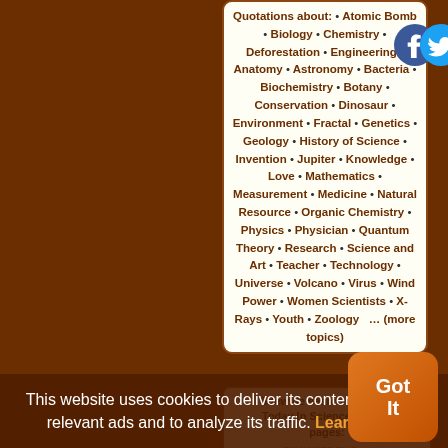Quotations about: • Atomic Bomb • Biology • Chemistry • Deforestation • Engineering • Anatomy • Astronomy • Bacteria • Biochemistry • Botany • Conservation • Dinosaur • Environment • Fractal • Genetics • Geology • History of Science • Invention • Jupiter • Knowledge • Love • Mathematics • Measurement • Medicine • Natural Resource • Organic Chemistry • Physics • Physician • Quantum Theory • Research • Science and Art • Teacher • Technology • Universe • Volcano • Virus • Wind Power • Women Scientists • X-Rays • Youth • Zoology … (more topics)
Sitewide search within all Today In Science History pages:
ENHANCED BY Goog
This website uses cookies to deliver its content, to show relevant ads and to analyze its traffic. Learn More